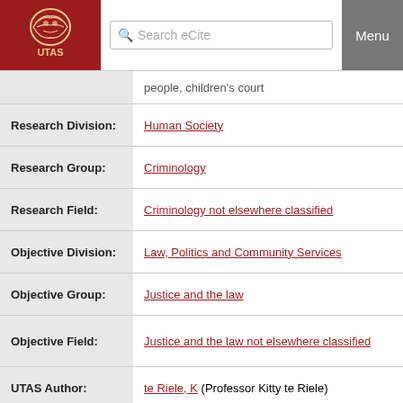UTAS eCite Search Menu
| Field | Value |
| --- | --- |
|  | people, children's court |
| Research Division: | Human Society |
| Research Group: | Criminology |
| Research Field: | Criminology not elsewhere classified |
| Objective Division: | Law, Politics and Community Services |
| Objective Group: | Justice and the law |
| Objective Field: | Justice and the law not elsewhere classified |
| UTAS Author: | te Riele, K (Professor Kitty te Riele) |
| ID Code: | 113852 |
| Year Published: | 2015 |